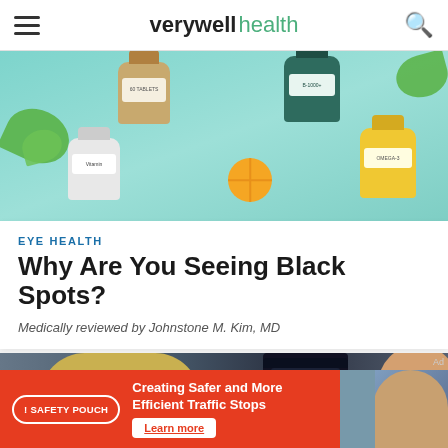verywell health
[Figure (illustration): Hero image showing supplement bottles (vitamins/omega) with green leaves and an orange slice on a teal/mint background]
EYE HEALTH
Why Are You Seeing Black Spots?
Medically reviewed by Johnstone M. Kim, MD
[Figure (photo): Eye examination photo showing a patient (blonde woman) having an eye exam using a slit lamp, with a doctor on the right side]
[Figure (photo): Advertisement banner: Safety Pouch - Creating Safer and More Efficient Traffic Stops. Learn more button. Photo of a person on right side.]